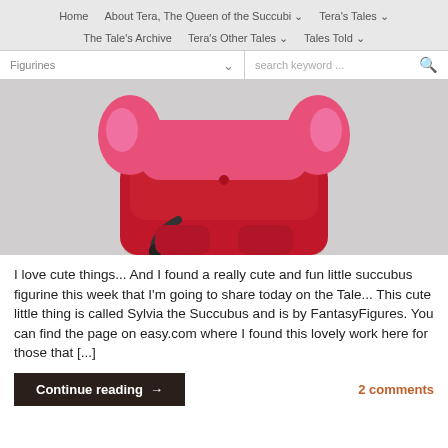Home | About Tera, The Queen of the Succubi | Tera's Tales | The Tale's Archive | Tera's Other Tales | Tales Told
[Figure (photo): Close-up photo of a pink and red succubus figurine called Sylvia the Succubus, showing the body and lower face area against a light grey background]
I love cute things... And I found a really cute and fun little succubus figurine this week that I'm going to share today on the Tale... This cute little thing is called Sylvia the Succubus and is by FantasyFigures. You can find the page on easy.com where I found this lovely work here for those that [...]
Continue reading →
2 comments